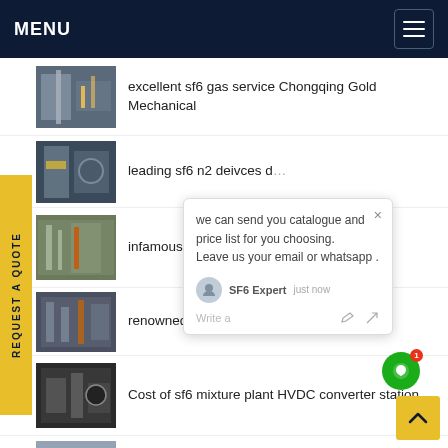MENU
excellent sf6 gas service Chongqing Gold Mechanical
leading sf6 n2 deivces d...
infamous sulfur hexafluo... er btb
renowned sf6 emissions CHINT
Cost of sf6 mixture plant HVDC converter station
eminent gis sf6 recovery Anhui Huai...